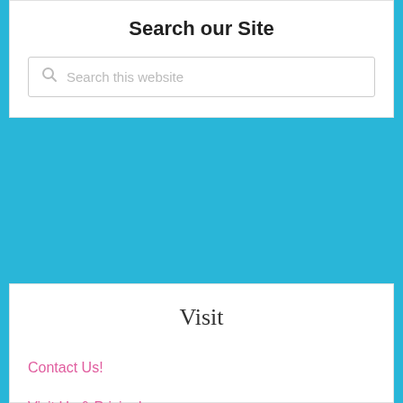Search our Site
Search this website
Visit
Contact Us!
Visit Us & Pricing!
News
About